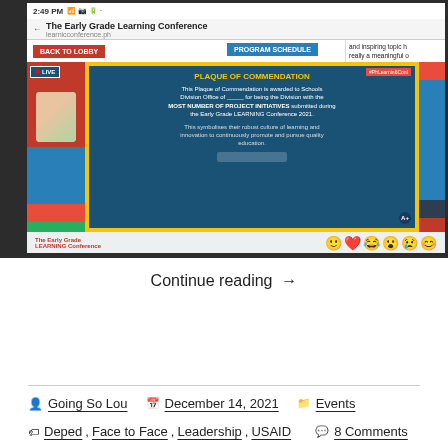[Figure (screenshot): Screenshot of a tablet showing The Early Grade Learning Conference virtual event page with a Plaque of Commendation being displayed live, with comments visible on the right side.]
Continue reading →
Going So Lou   December 14, 2021   Events
Deped, Face to Face, Leadership, USAID   8 Comments